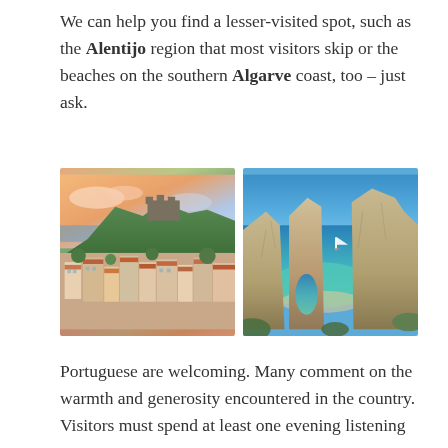We can help you find a lesser-visited spot, such as the Alentijo region that most visitors skip or the beaches on the southern Algarve coast, too – just ask.
[Figure (photo): Aerial view of a Portuguese hillside town with colorful buildings, castle on top, and sea in the background with a dramatic sunset sky]
[Figure (photo): Rocky sea stacks and cliffs of the Algarve coast with turquoise water and a white sailboat in the background under a blue sky]
Portuguese are welcoming. Many comment on the warmth and generosity encountered in the country. Visitors must spend at least one evening listening to